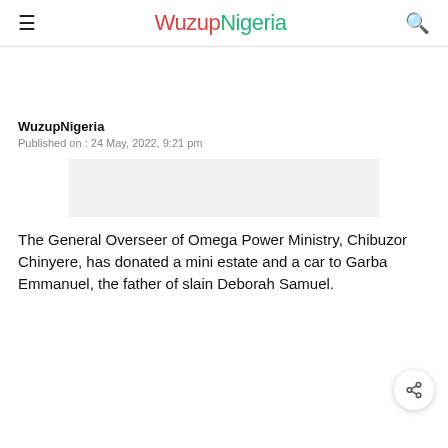≡ WuzupNigeria 🔍
WuzupNigeria
Published on : 24 May, 2022, 9:21 pm
[Figure (other): Gray placeholder advertisement banner]
The General Overseer of Omega Power Ministry, Chibuzor Chinyere, has donated a mini estate and a car to Garba Emmanuel, the father of slain Deborah Samuel.